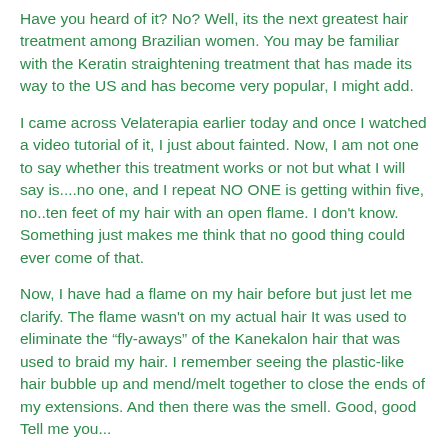Have you heard of it? No? Well, its the next greatest hair treatment among Brazilian women. You may be familiar with the Keratin straightening treatment that has made its way to the US and has become very popular, I might add.
I came across Velaterapia earlier today and once I watched a video tutorial of it, I just about fainted. Now, I am not one to say whether this treatment works or not but what I will say is....no one, and I repeat NO ONE is getting within five, no..ten feet of my hair with an open flame. I don't know. Something just makes me think that no good thing could ever come of that.
Now, I have had a flame on my hair before but just let me clarify. The flame wasn't on my actual hair It was used to eliminate the “fly-aways” of the Kanekalon hair that was used to braid my hair. I remember seeing the plastic-like hair bubble up and mend/melt together to close the ends of my extensions. And then there was the smell. Good, good Tell me you...